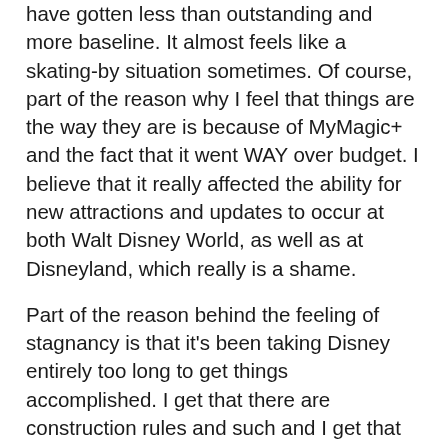have gotten less than outstanding and more baseline. It almost feels like a skating-by situation sometimes. Of course, part of the reason why I feel that things are the way they are is because of MyMagic+ and the fact that it went WAY over budget. I believe that it really affected the ability for new attractions and updates to occur at both Walt Disney World, as well as at Disneyland, which really is a shame.
Part of the reason behind the feeling of stagnancy is that it's been taking Disney entirely too long to get things accomplished. I get that there are construction rules and such and I get that they are trying to appeal to the board and that the domestic parks aren't the only parks they have on their plates for the money to be be dispersed (Hello Shanghai Disneyland), however, it shouldn't be taking as long as it is for current projects to occur and be completed.
There is no reason why it should take this long for a couple of parking garages to be built and don't get me started on Avatarland's very long wait. (Though some of that may be because of James Cameron, which I get.) It also shouldn't take until the end of 2016 to add additional capacity to both